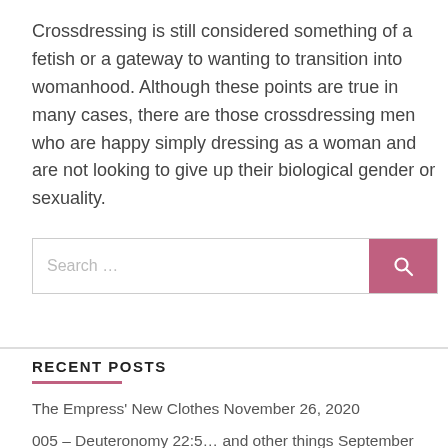Crossdressing is still considered something of a fetish or a gateway to wanting to transition into womanhood. Although these points are true in many cases, there are those crossdressing men who are happy simply dressing as a woman and are not looking to give up their biological gender or sexuality.
RECENT POSTS
The Empress' New Clothes November 26, 2020
005 – Deuteronomy 22:5… and other things September 18, 2020